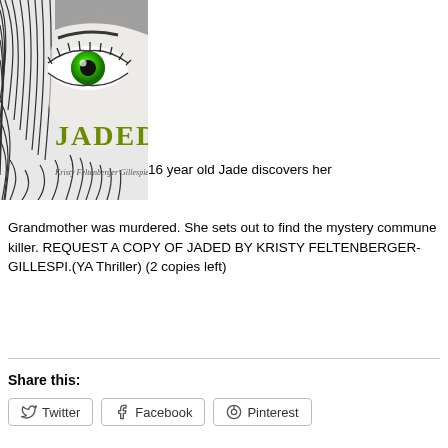[Figure (illustration): Book cover for 'JADED' by Kristy Feltenberger Gillespie. Shows a pencil-drawn face with a vivid green eye and dark hair. The word 'JADED' appears in olive/green serif text in the lower portion of the cover, with the author's name in small script below.]
16 year old Jade discovers her Grandmother was murdered. She sets out to find the mystery commune killer. REQUEST A COPY OF JADED BY KRISTY FELTENBERGER-GILLESPI.(YA Thriller) (2 copies left)
Share this:
Twitter
Facebook
Pinterest